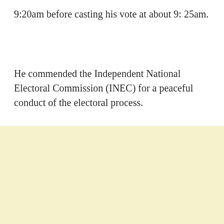9:20am before casting his vote at about 9: 25am.
He commended the Independent National Electoral Commission (INEC) for a peaceful conduct of the electoral process.